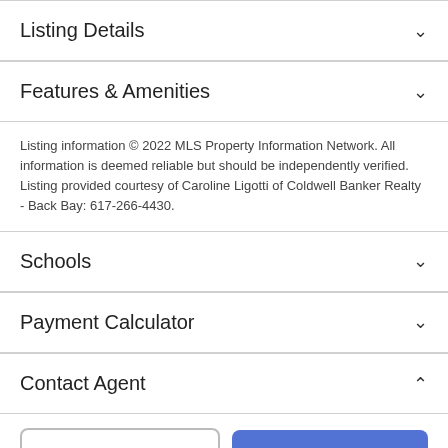Listing Details
Features & Amenities
Listing information © 2022 MLS Property Information Network. All information is deemed reliable but should be independently verified. Listing provided courtesy of Caroline Ligotti of Coldwell Banker Realty - Back Bay: 617-266-4430.
Schools
Payment Calculator
Contact Agent
Take a Tour
Ask A Question